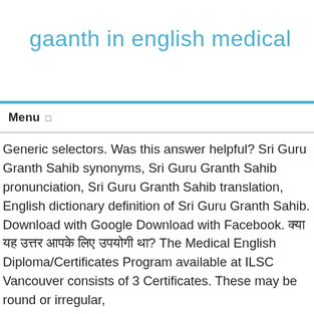gaanth in english medical
Menu
Generic selectors. Was this answer helpful? Sri Guru Granth Sahib synonyms, Sri Guru Granth Sahib pronunciation, Sri Guru Granth Sahib translation, English dictionary definition of Sri Guru Granth Sahib. Download with Google Download with Facebook. क्या यह उत्तर आपके लिए उपयोगी था? The Medical English Diploma/Certificates Program available at ILSC Vancouver consists of 3 Certificates. These may be round or irregular,